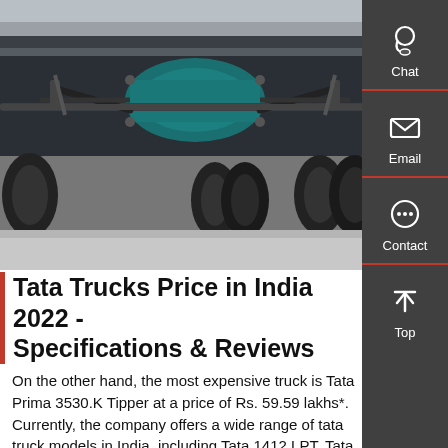[Figure (photo): Underside view of a Tata truck chassis showing the rear axle, suspension, and drivetrain components. The truck is photographed from below, revealing a teal-painted differential housing, steel suspension arms, and large truck tires on either side.]
Tata Trucks Price in India 2022 - Specifications & Reviews
On the other hand, the most expensive truck is Tata Prima 3530.K Tipper at a price of Rs. 59.59 lakhs*. Currently, the company offers a wide range of tata truck models in India, including Tata 1412 LPT, Tata 407 Gold SFC, Tata Signa 4825.T, Tata LPT 4825,